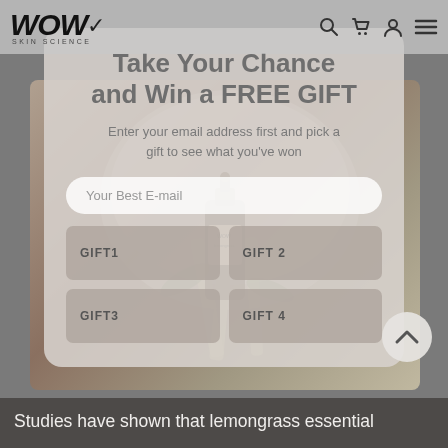[Figure (screenshot): WOW Skin Science website screenshot showing a promotional modal popup over a lemongrass product background image. The modal offers a chance to win a free gift by entering an email address, with four gift selection buttons.]
WOW SKIN SCIENCE
Take Your Chance and Win a FREE GIFT
Enter your email address first and pick a gift to see what you've won
Your Best E-mail
GIFT1
GIFT 2
GIFT3
GIFT 4
Studies have shown that lemongrass essential